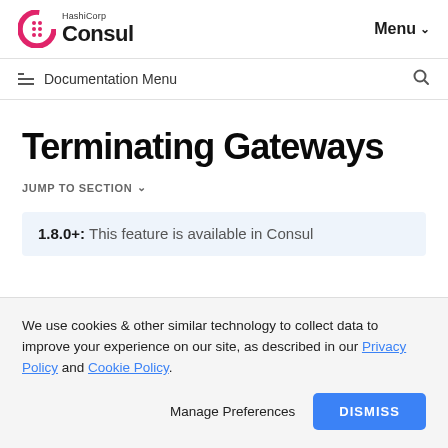HashiCorp Consul | Menu
Documentation Menu
Terminating Gateways
JUMP TO SECTION
1.8.0+: This feature is available in Consul
We use cookies & other similar technology to collect data to improve your experience on our site, as described in our Privacy Policy and Cookie Policy.
Manage Preferences   DISMISS